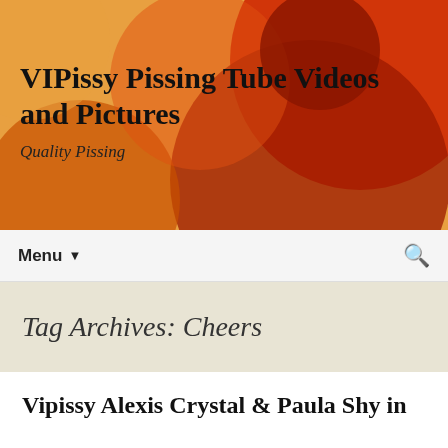[Figure (illustration): Website header banner with abstract overlapping circles in orange, red, and amber tones forming a decorative background.]
VIPissy Pissing Tube Videos and Pictures
Quality Pissing
Menu ▼
Tag Archives: Cheers
Vipissy Alexis Crystal & Paula Shy in